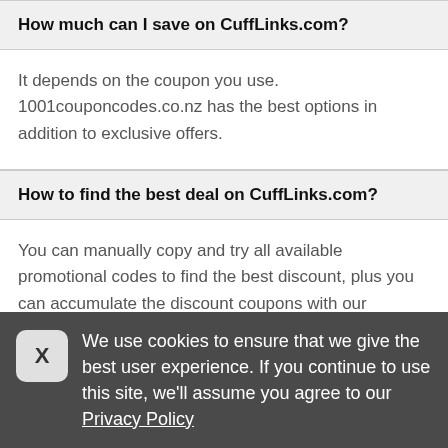How much can I save on CuffLinks.com?
It depends on the coupon you use. 1001couponcodes.co.nz has the best options in addition to exclusive offers.
How to find the best deal on CuffLinks.com?
You can manually copy and try all available promotional codes to find the best discount, plus you can accumulate the discount coupons with our
We use cookies to ensure that we give the best user experience. If you continue to use this site, we'll assume you agree to our Privacy Policy